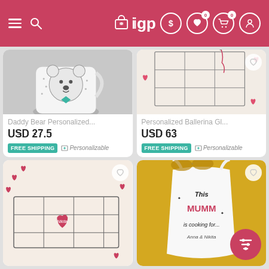IGP — navigation header with hamburger, search, logo, dollar, wishlist (0), cart (0), profile icons
[Figure (photo): Daddy Bear personalized white mug with bear face illustration, grey background]
Daddy Bear Personalized...
USD 27.5
FREE SHIPPING
Personalizable
[Figure (photo): Personalized Ballerina glass item with wireframe grid design and heart confetti, beige background]
Personalized Ballerina Gl...
USD 63
FREE SHIPPING
Personalizable
[Figure (photo): Personalized glass box with red heart tag, red heart confetti on beige background]
[Figure (photo): This Mummy is cooking for apron with sunglasses on yellow/gold background]